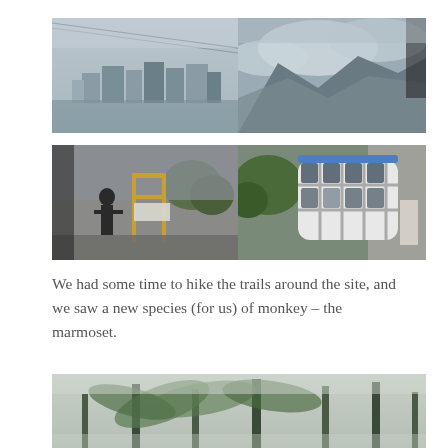[Figure (photo): Two-panel top photo row: left shows aerial view of city/buildings in fog from cable car; right shows misty mountain landscape with clouds from cable car]
[Figure (photo): Two-panel middle photo row: left shows person/statue standing near yellow cable car station structure in rain; right shows exterior of modern glass cable car gondola]
We had some time to hike the trails around the site, and we saw a new species (for us) of monkey – the marmoset.
[Figure (photo): Bottom photo showing foggy forest with palm trees and tall trees in mist]